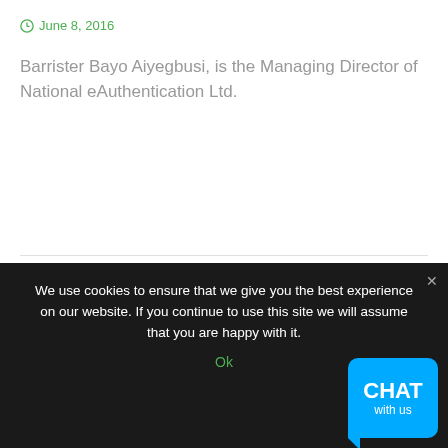June 8, 2016
Barrister Bayo Aiyegbusi, is the Managing Director of National eAuthentication Ltd.
READ MORE
[Figure (photo): Close-up photo of a bald head from above, showing the top of a person's head with skin texture and a shine/reflection.]
We use cookies to ensure that we give you the best experience on our website. If you continue to use this site we will assume that you are happy with it.
Ok